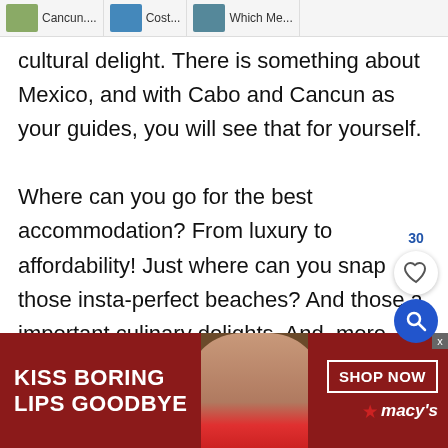Cancun.... | Cost... | Which Me...
cultural delight. There is something about Mexico, and with Cabo and Cancun as your guides, you will see that for yourself.
Where can you go for the best accommodation? From luxury to affordability! Just where can you snap those insta-perfect beaches? And those a important culinary delights. And, more importantly to some, where can you go to
[Figure (screenshot): Floating UI elements: like count '30', heart icon button, and blue search button]
[Figure (photo): Advertisement banner: red background with 'KISS BORING LIPS GOODBYE' text on left, woman with red lips photo in center, 'SHOP NOW' button and Macy's logo on right]